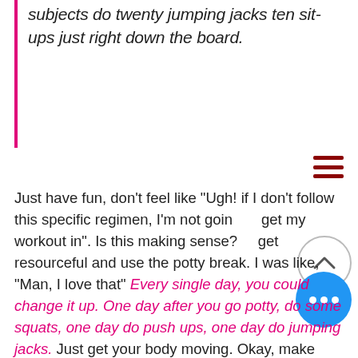subjects do twenty jumping jacks ten sit-ups just right down the board.
Just have fun, don't feel like "Ugh! if I don't follow this specific regimen, I'm not going to get my workout in". Is this making sense? Be get resourceful and use the potty break. I was like, "Man, I love that" Every single day, you could change it up. One day after you go potty, do some squats, one day do push ups, one day do jumping jacks. Just get your body moving. Okay, make sense?
Okay, next one 'I don't have time for... what did you say? I don't have time to read'. If you have followed my page at any point in time, you know that we talked about the power of...